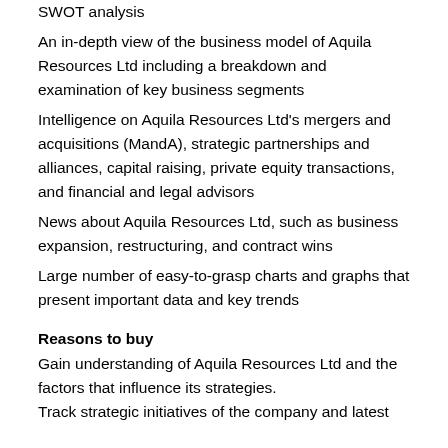SWOT analysis
An in-depth view of the business model of Aquila Resources Ltd including a breakdown and examination of key business segments
Intelligence on Aquila Resources Ltd's mergers and acquisitions (MandA), strategic partnerships and alliances, capital raising, private equity transactions, and financial and legal advisors
News about Aquila Resources Ltd, such as business expansion, restructuring, and contract wins
Large number of easy-to-grasp charts and graphs that present important data and key trends
Reasons to buy
Gain understanding of Aquila Resources Ltd and the factors that influence its strategies.
Track strategic initiatives of the company and latest